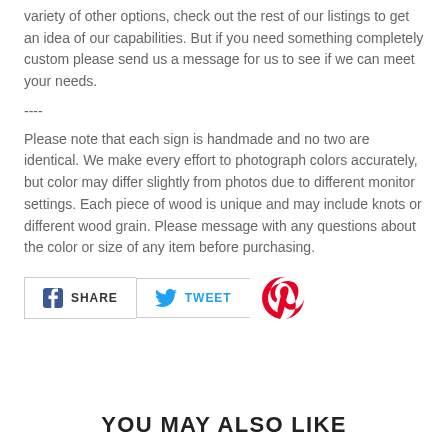variety of other options, check out the rest of our listings to get an idea of our capabilities. But if you need something completely custom please send us a message for us to see if we can meet your needs.
----
Please note that each sign is handmade and no two are identical. We make every effort to photograph colors accurately, but color may differ slightly from photos due to different monitor settings. Each piece of wood is unique and may include knots or different wood grain. Please message with any questions about the color or size of any item before purchasing.
[Figure (other): Social sharing buttons: Facebook SHARE, Twitter TWEET, Pinterest icon]
YOU MAY ALSO LIKE